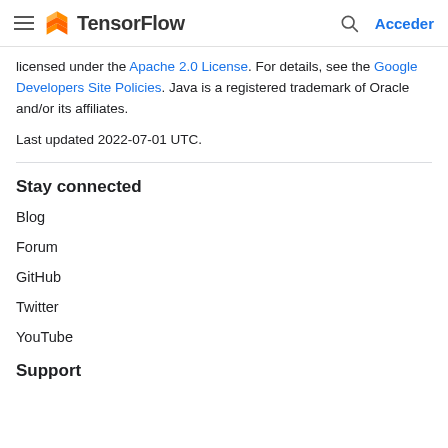TensorFlow — Acceder
licensed under the Apache 2.0 License. For details, see the Google Developers Site Policies. Java is a registered trademark of Oracle and/or its affiliates.
Last updated 2022-07-01 UTC.
Stay connected
Blog
Forum
GitHub
Twitter
YouTube
Support